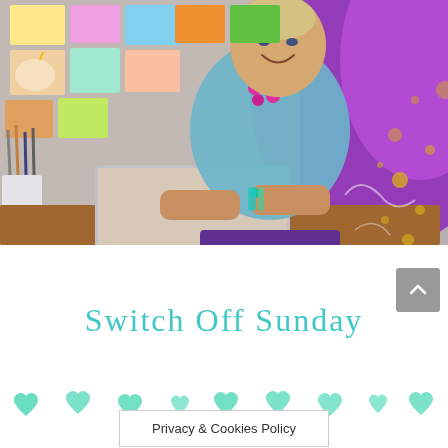[Figure (photo): Woman smiling, wearing a colorful teal/purple patterned top, sitting at a desk with a laptop. Colorful artwork pinned to the wall behind her on the left. Purple and gold artistic swirl background on the right side.]
Switch Off Sunday
[Figure (illustration): A row of watercolor teal/mint hearts decorating the bottom section of the page]
Privacy & Cookies Policy